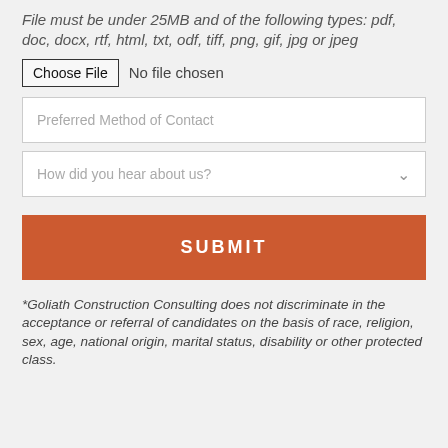File must be under 25MB and of the following types: pdf, doc, docx, rtf, html, txt, odf, tiff, png, gif, jpg or jpeg
[Figure (screenshot): File input with 'Choose File' button and 'No file chosen' text]
[Figure (screenshot): Dropdown input field with placeholder 'Preferred Method of Contact']
[Figure (screenshot): Dropdown input field with placeholder 'How did you hear about us?' and chevron arrow]
[Figure (screenshot): Orange SUBMIT button]
*Goliath Construction Consulting does not discriminate in the acceptance or referral of candidates on the basis of race, religion, sex, age, national origin, marital status, disability or other protected class.